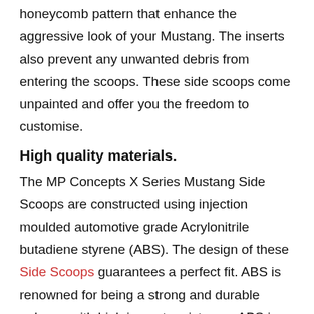honeycomb pattern that enhance the aggressive look of your Mustang. The inserts also prevent any unwanted debris from entering the scoops. These side scoops come unpainted and offer you the freedom to customise.
High quality materials.
The MP Concepts X Series Mustang Side Scoops are constructed using injection moulded automotive grade Acrylonitrile butadiene styrene (ABS). The design of these Side Scoops guarantees a perfect fit. ABS is renowned for being a strong and durable polymer with high impact resistance. ABS is also light weight. These qualities of ABS make it ideal for withstanding the hazards faced by a daily driven vehicle.
Straight Forward Installation.